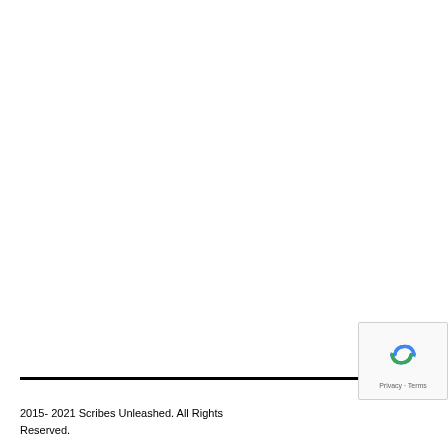2015- 2021 Scribes Unleashed. All Rights Reserved.